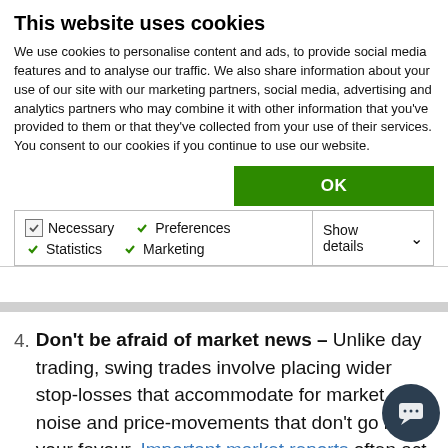This website uses cookies
We use cookies to personalise content and ads, to provide social media features and to analyse our traffic. We also share information about your use of our site with our marketing partners, social media, advertising and analytics partners who may combine it with other information that you've provided to them or that they've collected from your use of their services. You consent to our cookies if you continue to use our website.
OK
Necessary  Preferences  Statistics  Marketing  Show details
Don't be afraid of market news – Unlike day trading, swing trades involve placing wider stop-losses that accommodate for market noise and price-movements that don't go in your favour. Important market reports often act as crucial catalysts that create volatility in the market, form pullbacks, or